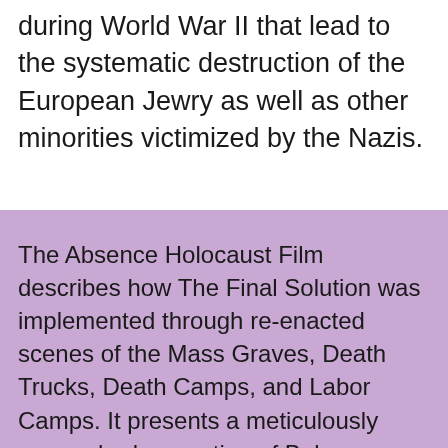during World War II that lead to the systematic destruction of the European Jewry as well as other minorities victimized by the Nazis.
The Absence Holocaust Film describes how The Final Solution was implemented through re-enacted scenes of the Mass Graves, Death Trucks, Death Camps, and Labor Camps. It presents a meticulously researched recreation of Belzec, Sobibor, and Treblinka, where no one was expected to survive.
The Absence is a Holocaust movie enriched with revealing archival footage obtained from the most relevant sources of the world. Artistic illustrations with musical and theatrical scenes bring messages